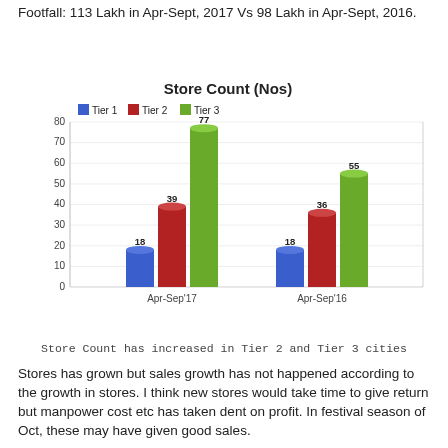Footfall: 113 Lakh in Apr-Sept, 2017 Vs 98 Lakh in Apr-Sept, 2016.
[Figure (grouped-bar-chart): Store Count (Nos)]
Store Count has increased in Tier 2 and Tier 3 cities
Stores has grown but sales growth has not happened according to the growth in stores. I think new stores would take time to give return but manpower cost etc has taken dent on profit. In festival season of Oct, these may have given good sales.